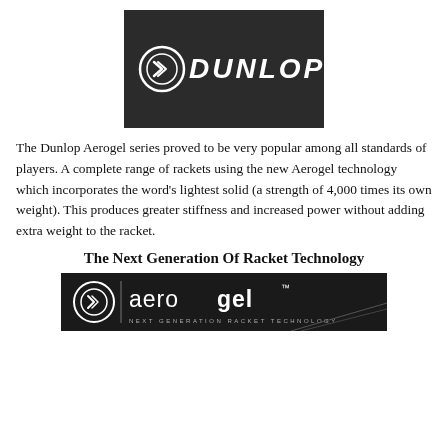[Figure (logo): Dunlop logo — white Dunlop wordmark with flying D symbol on dark background]
The Dunlop Aerogel series proved to be very popular among all standards of players. A complete range of rackets using the new Aerogel technology which incorporates the word's lightest solid (a strength of 4,000 times its own weight). This produces greater stiffness and increased power without adding extra weight to the racket.
The Next Generation Of Racket Technology
[Figure (logo): Aerogel — Next Generation Racket Technology banner logo on dark background with Dunlop flying D symbol]